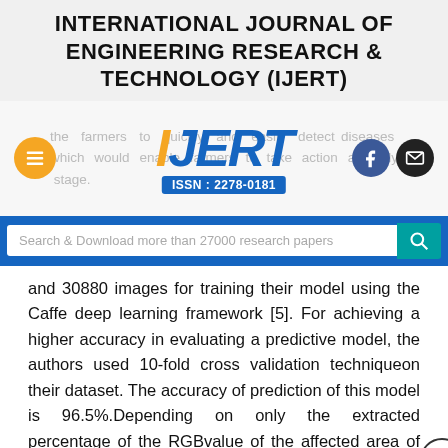INTERNATIONAL JOURNAL OF ENGINEERING RESEARCH & TECHNOLOGY (IJERT)
[Figure (logo): IJERT logo with ISSN: 2278-0181, overlaid on faded text about farmers detecting diseases. Hamburger menu button (orange circle), Facebook and mail social buttons on right.]
[Figure (screenshot): Search bar with text 'Search & Download more than 27000 research papers' and teal search button]
and 30880 images for training their model using the Caffe deep learning framework [5]. For achieving a higher accuracy in evaluating a predictive model, the authors used 10-fold cross validation techniqueon their dataset. The accuracy of prediction of this model is 96.5%.Depending on only the extracted percentage of the RGBvalue of the affected area of rice leaf using image processing,